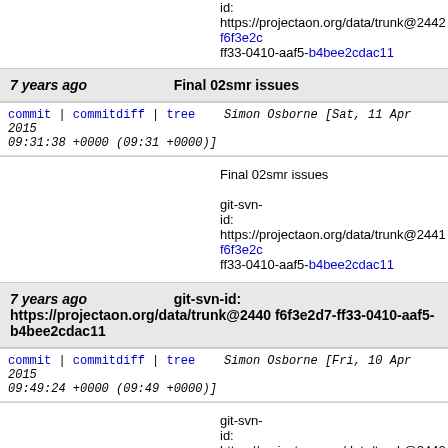id: https://projectaon.org/data/trunk@2442 f6f3e2c ff33-0410-aaf5-b4bee2cdac11
7 years ago   Final 02smr issues
commit | commitdiff | tree   Simon Osborne [Sat, 11 Apr 2015 09:31:38 +0000 (09:31 +0000)]
Final 02smr issues

git-svn-id: https://projectaon.org/data/trunk@2441 f6f3e2c ff33-0410-aaf5-b4bee2cdac11
7 years ago   git-svn-id: https://projectaon.org/data/trunk@2440 f6f3e2d7-ff33-0410-aaf5-b4bee2cdac11
commit | commitdiff | tree   Simon Osborne [Fri, 10 Apr 2015 09:49:24 +0000 (09:49 +0000)]
git-svn-id: https://projectaon.org/data/trunk@2440 f6f3e2c ff33-0410-aaf5-b4bee2cdac11
7 years ago   (er) tssf: May, 2020 -> May 2020 [FW Books 3 and 4; as per Book 2 erratum]